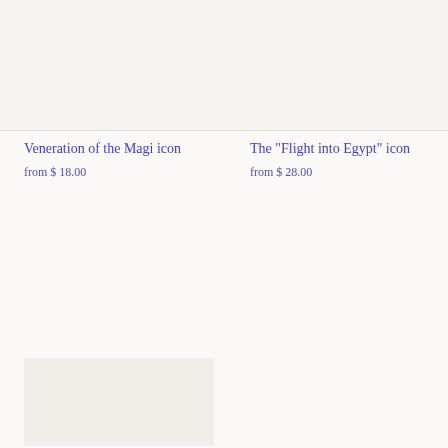[Figure (photo): Top image area showing product photo placeholder with light beige/off-white background]
Veneration of the Magi icon
from $ 18.00
The "Flight into Egypt" icon
from $ 28.00
[Figure (photo): Bottom left image area showing product photo placeholder]